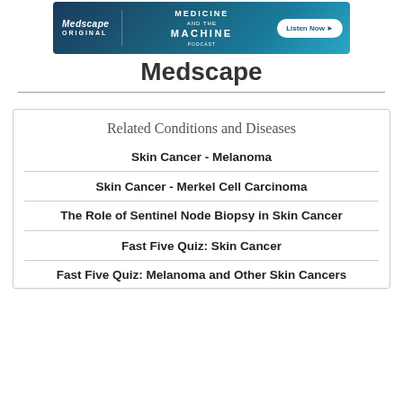[Figure (other): Medscape Original / Medicine and the Machine podcast banner ad with Listen Now button]
Medscape
Related Conditions and Diseases
Skin Cancer - Melanoma
Skin Cancer - Merkel Cell Carcinoma
The Role of Sentinel Node Biopsy in Skin Cancer
Fast Five Quiz: Skin Cancer
Fast Five Quiz: Melanoma and Other Skin Cancers